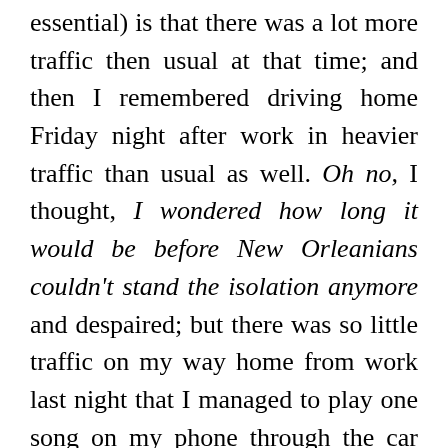essential) is that there was a lot more traffic then usual at that time; and then I remembered driving home Friday night after work in heavier traffic than usual as well. Oh no, I thought, I wondered how long it would be before New Orleanians couldn't stand the isolation anymore and despaired; but there was so little traffic on my way home from work last night that I managed to play one song on my phone through the car speakers as I pulled onto the highway and it was just finishing as I pulled into a parking space across the street from my house (yes, I managed to hit every light as green once I